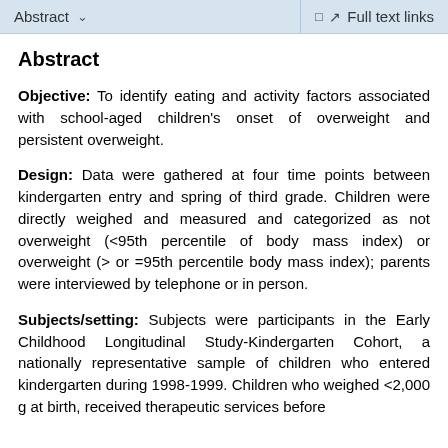Abstract    Full text links
Abstract
Objective: To identify eating and activity factors associated with school-aged children's onset of overweight and persistent overweight.
Design: Data were gathered at four time points between kindergarten entry and spring of third grade. Children were directly weighed and measured and categorized as not overweight (<95th percentile of body mass index) or overweight (> or =95th percentile body mass index); parents were interviewed by telephone or in person.
Subjects/setting: Subjects were participants in the Early Childhood Longitudinal Study-Kindergarten Cohort, a nationally representative sample of children who entered kindergarten during 1998-1999. Children who weighed <2,000 g at birth, received therapeutic services before